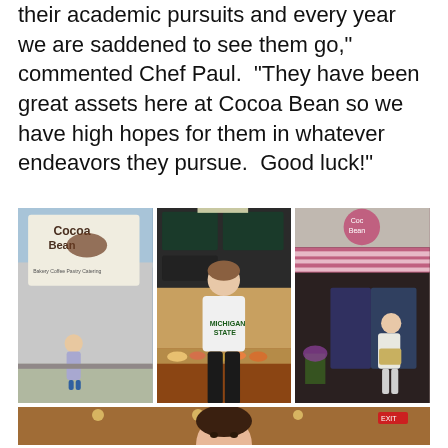"Every year we have to let our kids get back to their academic pursuits and every year we are saddened to see them go," commented Chef Paul.  "They have been great assets here at Cocoa Bean so we have high hopes for them in whatever endeavors they pursue.  Good luck!"
[Figure (photo): Three photos side by side: left shows a Cocoa Bean Bakery Coffee shop exterior sign with a person standing in front; center shows a young woman in a Michigan State shirt standing at a bakery counter display; right shows the exterior storefront of a Cocoa Bean location with a person holding a box outside.]
[Figure (photo): Bottom photo showing a young woman inside the Cocoa Bean cafe, partially visible, cropped at bottom of page.]